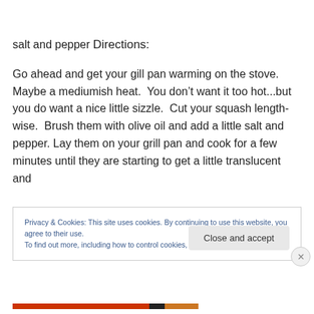salt and pepper
Directions:
Go ahead and get your gill pan warming on the stove. Maybe a mediumish heat.  You don’t want it too hot...but you do want a nice little sizzle.  Cut your squash length-wise.  Brush them with olive oil and add a little salt and pepper. Lay them on your grill pan and cook for a few minutes until they are starting to get a little translucent and
Privacy & Cookies: This site uses cookies. By continuing to use this website, you agree to their use.
To find out more, including how to control cookies, see here: Cookie Policy